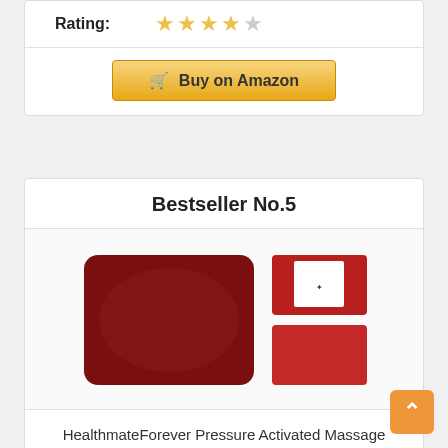Rating: ★★★★☆
Buy on Amazon
Bestseller No.5
[Figure (photo): HealthmateForever Pressure Activated Massage Pillow in Brick Red color - main pillow on left, two smaller red accessories on right]
HealthmateForever Pressure Activated Massage Pillow (Brick Red)...
Rating: ★★★★☆
Buy on Amazon